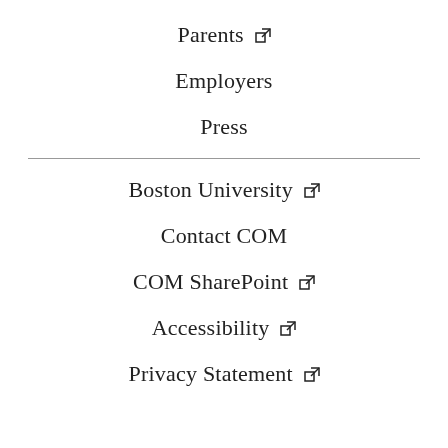Parents ↗
Employers
Press
Boston University ↗
Contact COM
COM SharePoint ↗
Accessibility ↗
Privacy Statement ↗